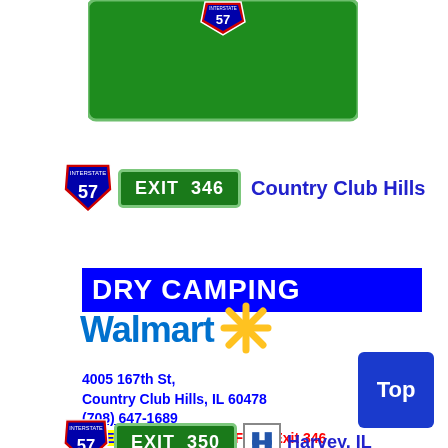[Figure (infographic): Partial green interstate highway sign for I-57 at top of page]
[Figure (infographic): Interstate 57 shield badge with EXIT 346 green sign and text 'Country Club Hills']
DRY CAMPING
[Figure (logo): Walmart logo with blue text and yellow spark/asterisk icon]
4005 167th St, Country Club Hills, IL 60478 (708) 647-1689 Go East 0.7 mi, 3 mins From Exit 346
[Figure (infographic): Interstate 57 shield badge with EXIT 350 green sign, hospital H sign, and text 'Harvey, IL']